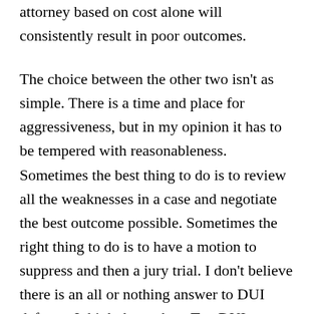attorney based on cost alone will consistently result in poor outcomes.
The choice between the other two isn't as simple. There is a time and place for aggressiveness, but in my opinion it has to be tempered with reasonableness. Sometimes the best thing to do is to review all the weaknesses in a case and negotiate the best outcome possible. Sometimes the right thing to do is to have a motion to suppress and then a jury trial. I don't believe there is an all or nothing answer to DUI defense. I think that to be a Top DUI Lawyer, you have to possess the confidence to exploit the weaknesses in the government's case and the temperament to know when to fight and when to not